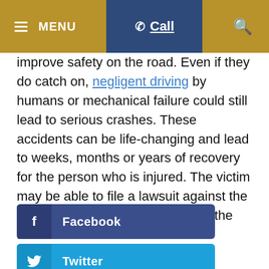MENU  Call  [search]
improve safety on the road. Even if they do catch on, negligent driving by humans or mechanical failure could still lead to serious crashes. These accidents can be life-changing and lead to weeks, months or years of recovery for the person who is injured. The victim may be able to file a lawsuit against the party or individual responsible for the accident.
Facebook
Twitter
LinkedIn